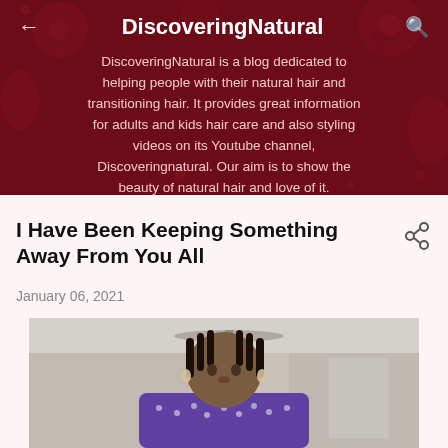DiscoveringNatural
DiscoveringNatural is a blog dedicated to helping people with their natural hair and transitioning hair. It provides great information for adults and kids hair care and also styling videos on its Youtube channel, Discoveringnatural. Our aim is to show the beauty of natural hair and love of it.
I Have Been Keeping Something Away From You All
January 06, 2021
[Figure (photo): Photo of a woman with box braids wearing a purple patterned top, with her hand raised near her chin, indoors with a ceiling fan visible in the background]